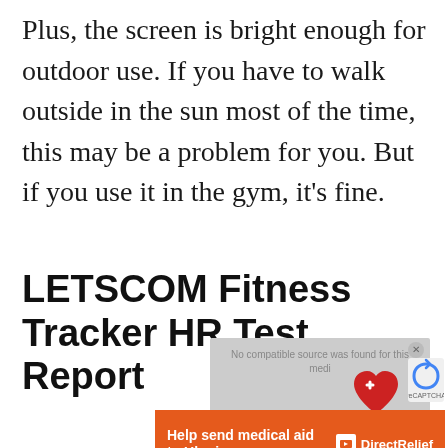Plus, the screen is bright enough for outdoor use. If you have to walk outside in the sun most of the time, this may be a problem for you. But if you use it in the gym, it's fine.
LETSCOM Fitness Tracker HR Test Report
[Figure (screenshot): Partially visible video player overlay with gray background showing 'No compatible source was found for this media' message, a red heart icon overlapping, and a reCAPTCHA icon to the right. Below is an orange advertisement banner reading 'Help send medical aid to Ukraine >>' with DirectRelief logo.]